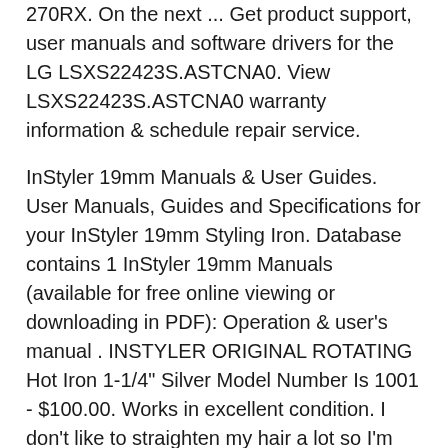270RX. On the next ... Get product support, user manuals and software drivers for the LG LSXS22423S.ASTCNA0. View LSXS22423S.ASTCNA0 warranty information & schedule repair service.
InStyler 19mm Manuals & User Guides. User Manuals, Guides and Specifications for your InStyler 19mm Styling Iron. Database contains 1 InStyler 19mm Manuals (available for free online viewing or downloading in PDF): Operation & user's manual . INSTYLER ORIGINAL ROTATING Hot Iron 1-1/4" Silver Model Number Is 1001 - $100.00. Works in excellent condition. I don't like to straighten my hair a lot so I'm selling it. Has 3 heat settings shown in picture. 123167720887